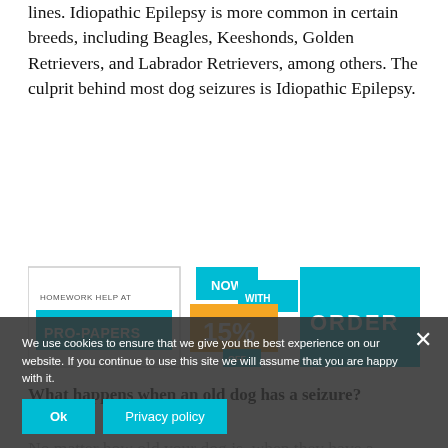lines. Idiopathic Epilepsy is more common in certain breeds, including Beagles, Keeshonds, Golden Retrievers, and Labrador Retrievers, among others. The culprit behind most dog seizures is Idiopathic Epilepsy.
[Figure (infographic): Advertisement banner for Pro-Papers homework help service showing 'NOW WITH 15% OFF' and 'ORDER' button in teal/cyan colors]
What happens when an old dog has a seizure?
No matter how old your dog is, when they have a seizure, it's a terrifying experience. As your dog ages, health issues tend to crop up more frequently – and you spend more time worrying about them. Despite appearing to be life-threatening, most seizures do not affect dogs long-term. But it depends on what is behind the seizure.
We use cookies to ensure that we give you the best experience on our website. If you continue to use this site we will assume that you are happy with it.